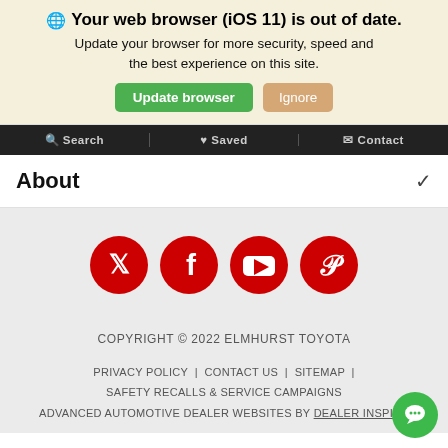Your web browser (iOS 11) is out of date. Update your browser for more security, speed and the best experience on this site.
Update browser | Ignore
Search | Saved | Contact
About
[Figure (illustration): Four red circular social media icons for Twitter, Facebook, YouTube, and Pinterest]
COPYRIGHT © 2022 ELMHURST TOYOTA
PRIVACY POLICY | CONTACT US | SITEMAP | SAFETY RECALLS & SERVICE CAMPAIGNS ADVANCED AUTOMOTIVE DEALER WEBSITES BY DEALER INSPIRE